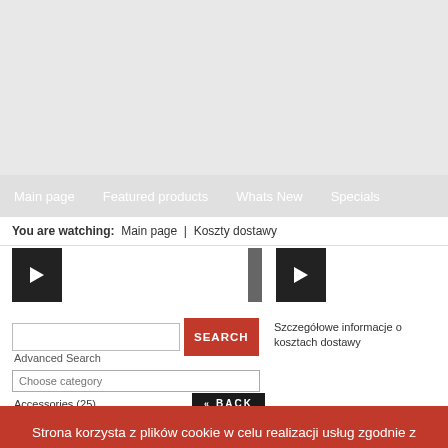[Figure (photo): Hero banner area — light grey background, top of webpage]
Main page | Featured products | Whats New | Specials
You are watching: Main page | Koszty dostawy
[Figure (screenshot): Left sidebar video thumbnail — dark rectangle with play button]
[Figure (screenshot): Right panel video thumbnail — dark rectangle with play button]
SEARCH (button)
Advanced Search
Choose category
Szczegółowe informacje o kosztach dostawy
BACK
Accessories (25)
Cables & accessories (2…
Strona korzysta z plików cookie w celu realizacji usług zgodnie z Polityką Prywatności. Możesz samodzielnie określić warunki przechowywania lub dostępu plików cookie w Twojej przeglądarce.
Nie pokazuj więcej